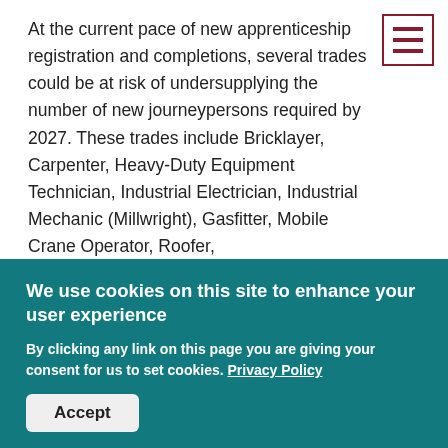At the current pace of new apprenticeship registration and completions, several trades could be at risk of undersupplying the number of new journeypersons required by 2027. These trades include Bricklayer, Carpenter, Heavy-Duty Equipment Technician, Industrial Electrician, Industrial Mechanic (Millwright), Gasfitter, Mobile Crane Operator, Roofer, Steamfitter/Pipefitter, and Welder.
The construction industry remains focused on building a more diverse and inclusive labourforce. To that and
We use cookies on this site to enhance your user experience
By clicking any link on this page you are giving your consent for us to set cookies. Privacy Policy
Accept